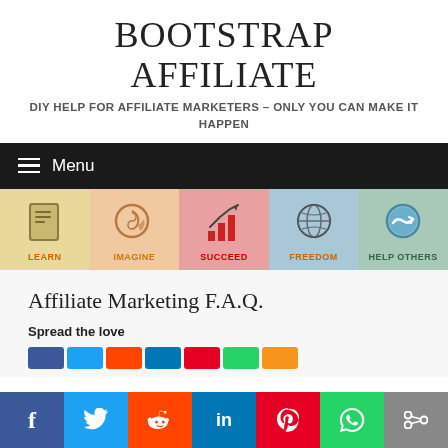BOOTSTRAP AFFILIATE
DIY HELP FOR AFFILIATE MARKETERS – ONLY YOU CAN MAKE IT HAPPEN
Menu
[Figure (infographic): Five icon navigation cells: LEARN (book icon, yellow), IMAGINE (head with gear icon, peach), SUCCEED (bar chart icon, pink/red), FREEDOM (globe icon, blue), HELP OTHERS (handshake icon, teal)]
Affiliate Marketing F.A.Q.
Spread the love
[Figure (infographic): Social sharing buttons bar at bottom: Facebook, Twitter, Reddit, LinkedIn, Pinterest, WhatsApp, Share]